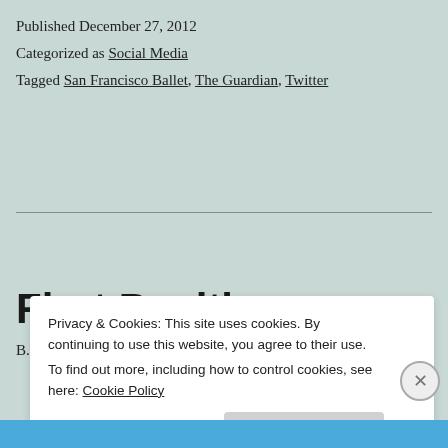Published December 27, 2012
Categorized as Social Media
Tagged San Francisco Ballet, The Guardian, Twitter
First Position
Privacy & Cookies: This site uses cookies. By continuing to use this website, you agree to their use.
To find out more, including how to control cookies, see here: Cookie Policy
Close and accept